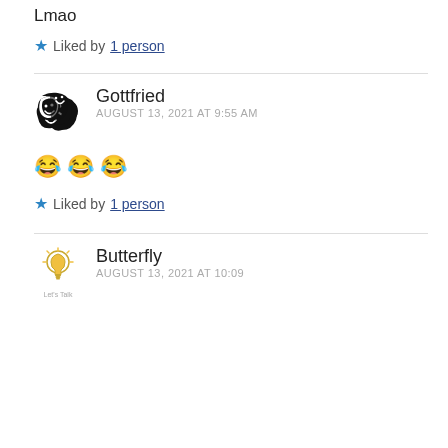Lmao
★ Liked by 1 person
Gottfried
AUGUST 13, 2021 AT 9:55 AM
😂😂😂
★ Liked by 1 person
Butterfly
AUGUST 13, 2021 AT 10:09